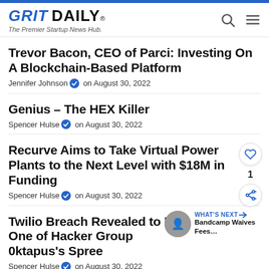GRIT DAILY® — The Premier Startup News Hub.
Trevor Bacon, CEO of Parci: Investing On A Blockchain-Based Platform
Jennifer Johnson ✔ on August 30, 2022
Genius – The HEX Killer
Spencer Hulse ✔ on August 30, 2022
Recurve Aims to Take Virtual Power Plants to the Next Level with $18M in Funding
Spencer Hulse ✔ on August 30, 2022
Twilio Breach Revealed to Be One of Hacker Group 0ktapus's Spree
Spencer Hulse ✔ on August 30, 2022